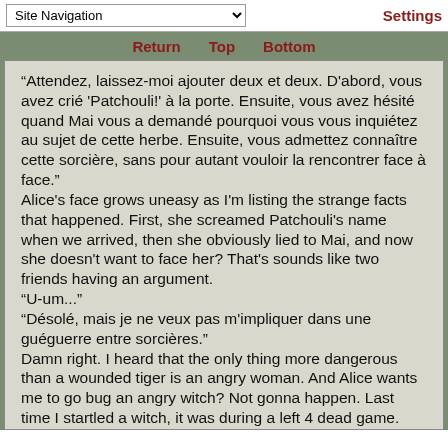Site Navigation | Return  Top  Bottom | Settings
“Attendez, laissez-moi ajouter deux et deux. D'abord, vous avez crié 'Patchouli!' à la porte. Ensuite, vous avez hésité quand Mai vous a demandé pourquoi vous vous inquiétez au sujet de cette herbe. Ensuite, vous admettez connaître cette sorcière, sans pour autant vouloir la rencontrer face à face.”
Alice's face grows uneasy as I'm listing the strange facts that happened. First, she screamed Patchouli's name when we arrived, then she obviously lied to Mai, and now she doesn't want to face her? That's sounds like two friends having an argument.
“U-um...”
“Désolé, mais je ne veux pas m'impliquer dans une guéguerre entre sorcières.”
Damn right. I heard that the only thing more dangerous than a wounded tiger is an angry woman. And Alice wants me to go bug an angry witch? Not gonna happen. Last time I startled a witch, it was during a left 4 dead game. And I died. Painfully. Only